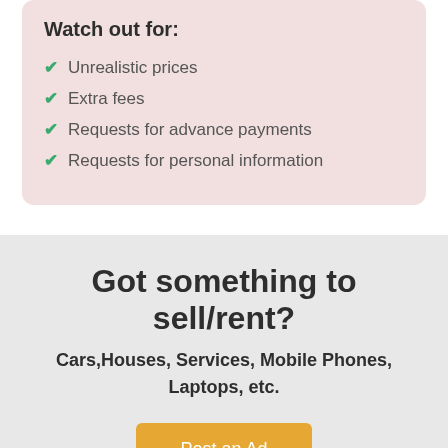Watch out for:
Unrealistic prices
Extra fees
Requests for advance payments
Requests for personal information
Got something to sell/rent?
Cars,Houses, Services, Mobile Phones, Laptops, etc.
Post an Ad